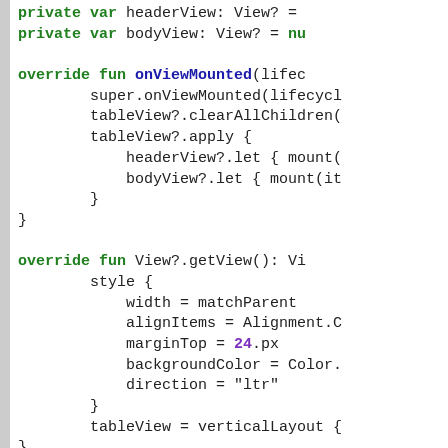[Figure (screenshot): Source code screenshot showing Kotlin code with syntax highlighting. Contains private var declarations, override fun onViewMounted and override fun View?.getView() functions with style block including width, alignItems, marginTop, backgroundColor, direction properties, and tableView assignment.]